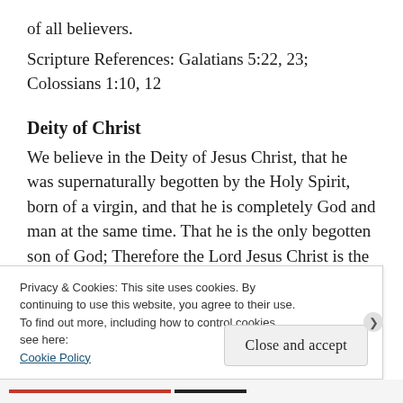of all believers.
Scripture References: Galatians 5:22, 23; Colossians 1:10, 12
Deity of Christ
We believe in the Deity of Jesus Christ, that he was supernaturally begotten by the Holy Spirit, born of a virgin, and that he is completely God and man at the same time. That he is the only begotten son of God; Therefore the Lord Jesus Christ is the sinless, omnipotent, omniscient, Savior of sinners, King of
Privacy & Cookies: This site uses cookies. By continuing to use this website, you agree to their use.
To find out more, including how to control cookies, see here:
Cookie Policy
Close and accept